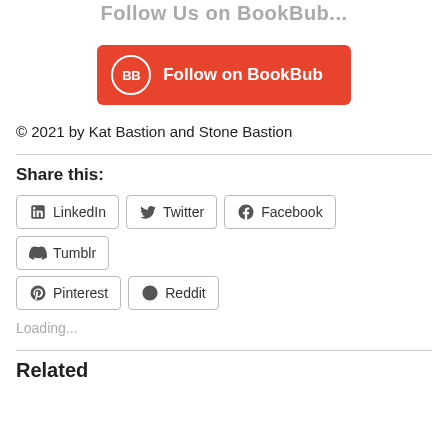Follow Us on BookBub...
[Figure (other): BookBub follow button — red rounded rectangle with BB circle logo and text 'Follow on BookBub']
© 2021 by Kat Bastion and Stone Bastion
Share this:
LinkedIn
Twitter
Facebook
Tumblr
Pinterest
Reddit
Loading...
Related